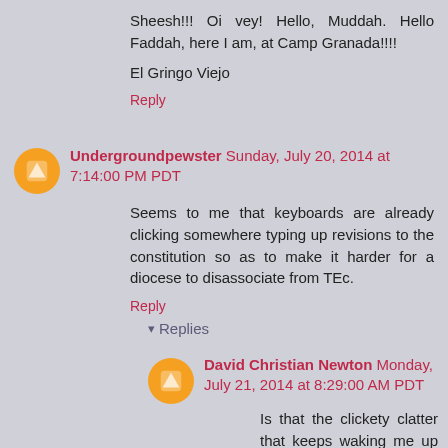Sheesh!!! Oi vey! Hello, Muddah. Hello Faddah, here I am, at Camp Granada!!!!
El Gringo Viejo
Reply
Undergroundpewster Sunday, July 20, 2014 at 7:14:00 PM PDT
Seems to me that keyboards are already clicking somewhere typing up revisions to the constitution so as to make it harder for a diocese to disassociate from TEc.
Reply
Replies
David Christian Newton Monday, July 21, 2014 at 8:29:00 AM PDT
Is that the clickety clatter that keeps waking me up in the middle of the night?